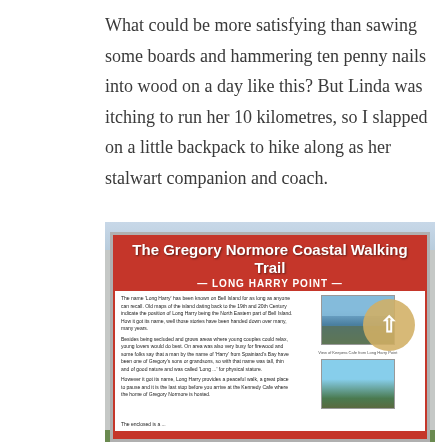What could be more satisfying than sawing some boards and hammering ten penny nails into wood on a day like this? But Linda was itching to run her 10 kilometres, so I slapped on a little backpack to hike along as her stalwart companion and coach.
[Figure (photo): A photograph of a red and white informational sign for The Gregory Normore Coastal Walking Trail — Long Harry Point. The sign contains text about the history of Long Harry Point on Bell Island, small inset photos of the coastal view, and a circular overlay with an upward arrow. The sign is positioned outdoors with grass and sky visible above.]